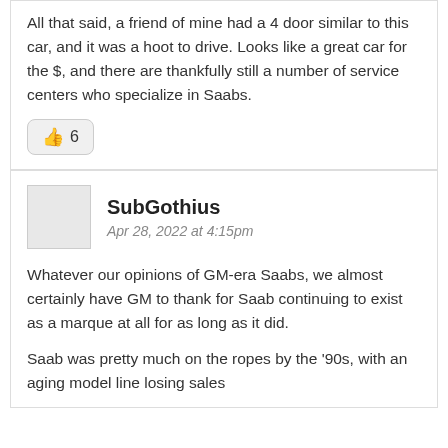All that said, a friend of mine had a 4 door similar to this car, and it was a hoot to drive. Looks like a great car for the $, and there are thankfully still a number of service centers who specialize in Saabs.
👍 6
SubGothius
Apr 28, 2022 at 4:15pm
Whatever our opinions of GM-era Saabs, we almost certainly have GM to thank for Saab continuing to exist as a marque at all for as long as it did.
Saab was pretty much on the ropes by the '90s, with an aging model line losing sales